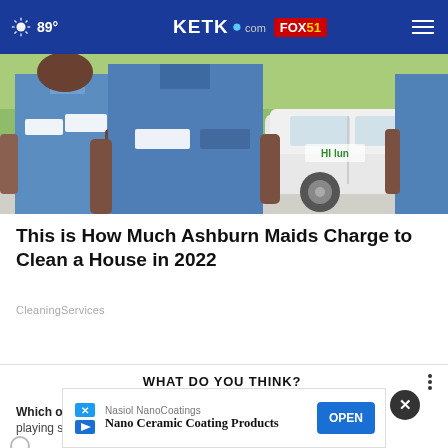89° KETK.com FOX51
[Figure (photo): Three people wearing blue short-sleeve work uniforms with name tags standing in front of a white vehicle]
This is How Much Ashburn Maids Charge to Clean a House in 2022
CleaningServices
WHAT DO YOU THINK?
Which of these is the best: watching sports, playing sports, or playing sports video games?
[Figure (screenshot): Ad banner for Nasiol NanoCoatings showing Nano Ceramic Coating Products with an OPEN button]